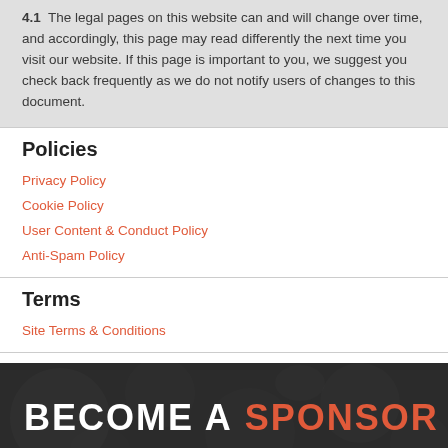4.1  The legal pages on this website can and will change over time, and accordingly, this page may read differently the next time you visit our website. If this page is important to you, we suggest you check back frequently as we do not notify users of changes to this document.
Policies
Privacy Policy
Cookie Policy
User Content & Conduct Policy
Anti-Spam Policy
Terms
Site Terms & Conditions
[Figure (illustration): Become a Sponsor banner with dark background and decorative pattern, white text 'BECOME A' and orange text 'SPONSOR']